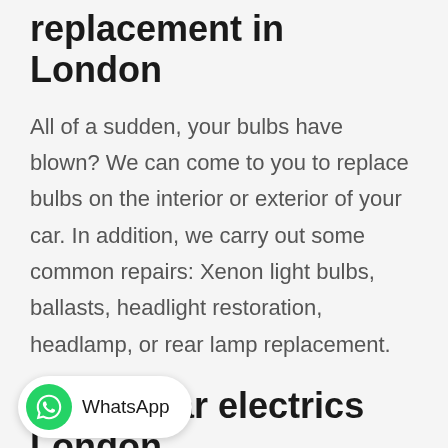replacement in London
All of a sudden, your bulbs have blown? We can come to you to replace bulbs on the interior or exterior of your car. In addition, we carry out some common repairs: Xenon light bulbs, ballasts, headlight restoration, headlamp, or rear lamp replacement.
Mobile car electrics London
We can source and fit new electrical and electronic parts at a fair price. Our mobile auto